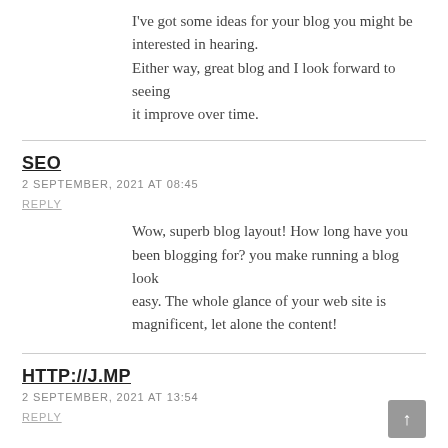I've got some ideas for your blog you might be interested in hearing.
Either way, great blog and I look forward to seeing
it improve over time.
SEO
2 SEPTEMBER, 2021 AT 08:45
REPLY
Wow, superb blog layout! How long have you been blogging for? you make running a blog look easy. The whole glance of your web site is magnificent, let alone the content!
HTTP://J.MP
2 SEPTEMBER, 2021 AT 13:54
REPLY